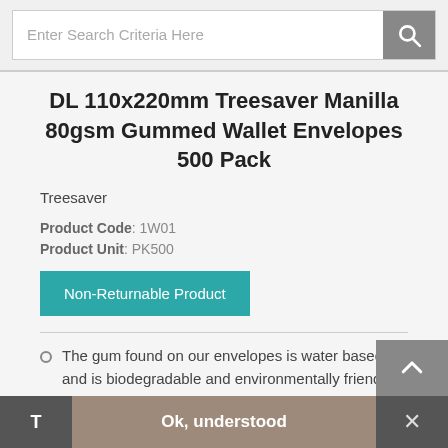Enter Search Criteria Here
DL 110x220mm Treesaver Manilla 80gsm Gummed Wallet Envelopes 500 Pack
Treesaver
Product Code: 1W01
Product Unit: PK500
Non-Returnable Product
The gum found on our envelopes is water based and is biodegradable and environmentally friendly
To seal, moisten the layer of adhesive along the
T  Ok, understood  ×